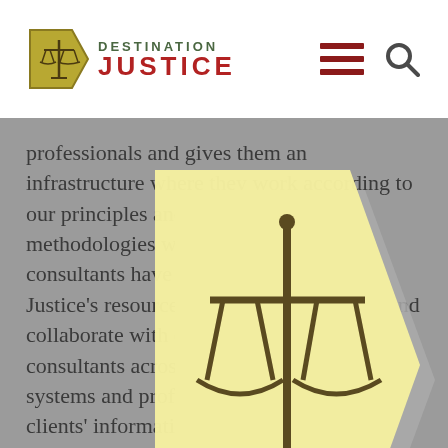DESTINATION JUSTICE
professionals and gives them an infrastructure where they work according to our principles and the rigorous methodologies we have developed. Our consultants have access to Destination Justice's resources, can share knowledge and collaborate with other Destination Justice consultants across cultures, languages, legal systems and professions, while keeping our clients' information confidential.
[Figure (logo): Destination Justice logo overlay: yellow arrow-shaped pentagon with scales of justice icon inside, grey arrow shadow behind]
Services that we are able to provide include: